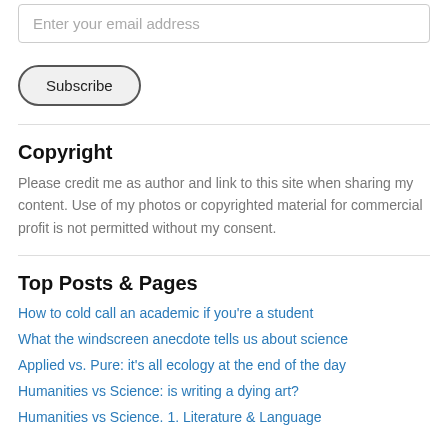Enter your email address
Subscribe
Copyright
Please credit me as author and link to this site when sharing my content. Use of my photos or copyrighted material for commercial profit is not permitted without my consent.
Top Posts & Pages
How to cold call an academic if you're a student
What the windscreen anecdote tells us about science
Applied vs. Pure: it's all ecology at the end of the day
Humanities vs Science: is writing a dying art?
Humanities vs Science. 1. Literature & Language